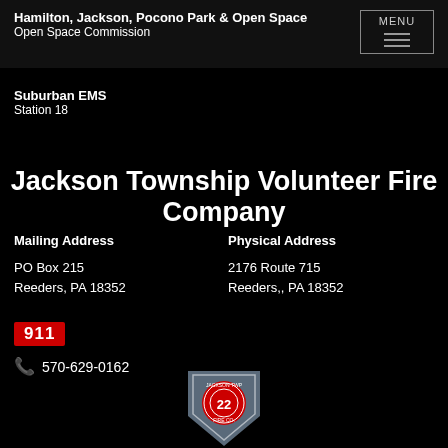Hamilton, Jackson, Pocono Park & Open Space Open Space Commission
Suburban EMS
Station 18
Jackson Township Volunteer Fire Company
Mailing Address
PO Box 215
Reeders, PA 18352
Physical Address
2176 Route 715
Reeders,, PA 18352
911
570-629-0162
[Figure (logo): Jackson Township Volunteer Fire Company logo/shield emblem]